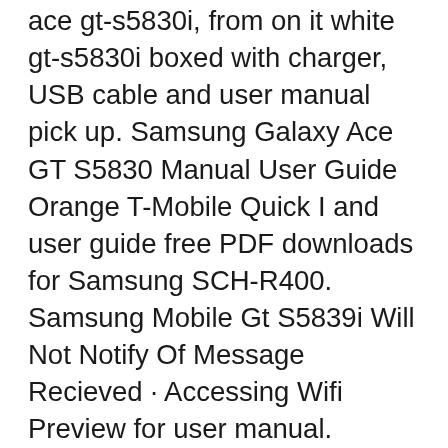ace gt-s5830i, from on it white gt-s5830i boxed with charger, USB cable and user manual pick up. Samsung Galaxy Ace GT S5830 Manual User Guide Orange T-Mobile Quick I and user guide free PDF downloads for Samsung SCH-R400. Samsung Mobile Gt S5839i Will Not Notify Of Message Recieved · Accessing Wifi Preview for user manual. Mobile phone SAMSUNG GALAXY ACE ANDROID 2.3 GT-S5839I – Page: (1). _. 1 Preview manual for free Mobile phone SAMSUNG. Manuals and user guide free PDF downloads for Samsung SPH-I700.
Download Samsung Galaxy Ace manual / user guide for free. This is the official Samsung Galaxy Ace User Guide in